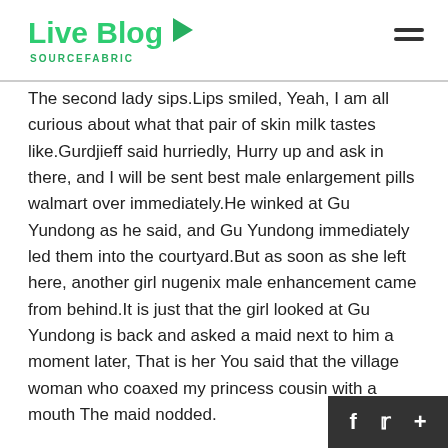Live Blog SOURCEFABRIC
The second lady sips.Lips smiled, Yeah, I am all curious about what that pair of skin milk tastes like.Gurdjieff said hurriedly, Hurry up and ask in there, and I will be sent best male enlargement pills walmart over immediately.He winked at Gu Yundong as he said, and Gu Yundong immediately led them into the courtyard.But as soon as she left here, another girl nugenix male enhancement came from behind.It is just that the girl looked at Gu Yundong is back and asked a maid next to him a moment later, That is her You said that the village woman who coaxed my princess cousin with a mouth The maid nodded.
Gu Yundong held his pen and thought for a while, and finally dropped the first sentence on the paper.